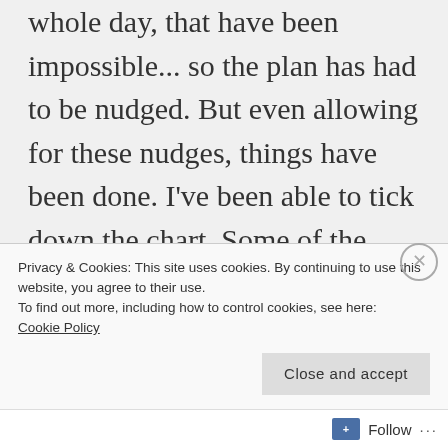a small room with another person for a whole day, that have been impossible... so the plan has had to be nudged. But even allowing for these nudges, things have been done. I've been able to tick down the chart. Some of the proposed activities for May have been done, while some of the things for February and March cannot yet. But all in all, a satisfying move forward. Of course, just because I've been in the
Privacy & Cookies: This site uses cookies. By continuing to use this website, you agree to their use.
To find out more, including how to control cookies, see here:
Cookie Policy
Close and accept
Follow ...